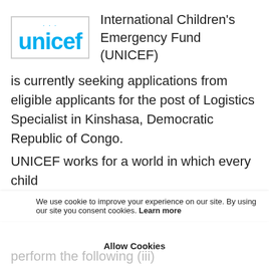[Figure (logo): UNICEF logo in cyan/light blue with a world/child emblem above the word 'unicef' in a bordered box]
International Children's Emergency Fund (UNICEF)
is currently seeking applications from eligible applicants for the post of Logistics Specialist in Kinshasa, Democratic Republic of Congo.
UNICEF works for a world in which every child
has a fair chance in life. Key Job
We use cookie to improve your experience on our site. By using our site you consent cookies. Learn more
Responsibilities The Logistics Specialist will
Allow Cookies
perform the following (iii)